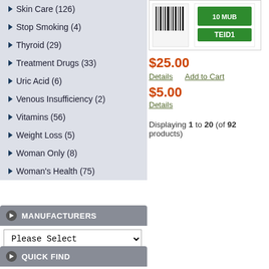Skin Care (126)
Stop Smoking (4)
Thyroid (29)
Treatment Drugs (33)
Uric Acid (6)
Venous Insufficiency (2)
Vitamins (56)
Weight Loss (5)
Woman Only (8)
Woman's Health (75)
[Figure (photo): Product image with barcode and green label reading TEID1]
$25.00
Details   Add to Cart
$5.00
Details
Displaying 1 to 20 (of 92 products)
MANUFACTURERS
Please Select
QUICK FIND
Use keywords to find the product